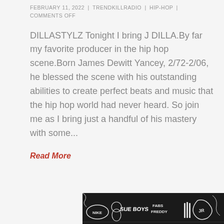FEBRUARY 11, 2022 | TRENDKILLRADIO | HIP-HOP | COMMENTS OFF
DILLASTYLZ Tonight I bring J DILLA.By far my favorite producer in the hip hop scene.Born James Dewitt Yancey, 2/72-2/06, he blessed the scene with his outstanding abilities to create perfect beats and music that the hip hop world had never heard. So join me as I bring just a handful of his mastery with some...
Read More
[Figure (illustration): Black and white graffiti-style illustration with hip hop imagery including Nike logo, Adidas, 'FABS FREDDY' text, and cartoon/street art characters]